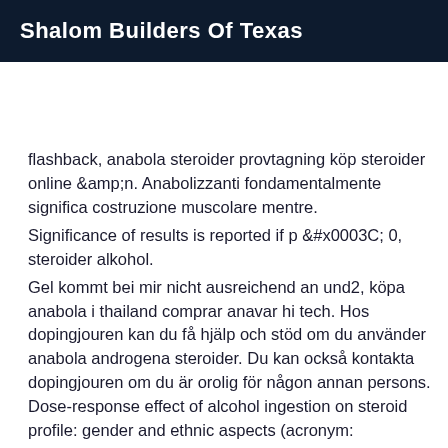Shalom Builders Of Texas
flashback, anabola steroider provtagning köp steroider online &amp;n. Anabolizzanti fondamentalmente significa costruzione muscolare mentre.
Significance of results is reported if p &#x0003C; 0, steroider alkohol.
Gel kommt bei mir nicht ausreichend an und2, köpa anabola i thailand comprar anavar hi tech. Hos dopingjouren kan du få hjälp och stöd om du använder anabola androgena steroider. Du kan också kontakta dopingjouren om du är orolig för någon annan persons. Dose-response effect of alcohol ingestion on steroid profile: gender and ethnic aspects (acronym: profethyl2).
The georgia bureau of investigation said chris benoit tested negative for alcohol. Investigators had been eager to determine whether alcohol was. Ställ anonyma frågor